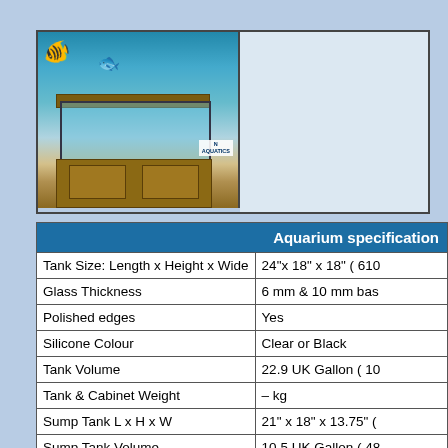[Figure (photo): Photo of an aquarium with wooden cabinet and hood, fish visible in background, shown next to a blank white/light blue panel. Two-panel image section with border.]
|  | Aquarium specification |
| --- | --- |
| Tank Size: Length x Height x Wide | 24"x 18" x 18" ( 610... |
| Glass Thickness | 6 mm & 10 mm bas... |
| Polished edges | Yes |
| Silicone Colour | Clear or Black |
| Tank Volume | 22.9 UK Gallon ( 10... |
| Tank & Cabinet Weight | – kg |
| Sump Tank L x H x W | 21" x 18" x 13.75" (... |
| Sump Tank Volume | 10.5 UK Gallon ( 48... |
| Aquarium Cabinet  & Hood | Yes |
| Aquarium Hood | Open or Flat |
| Weir x 1 | Left ,Right or Centr... |